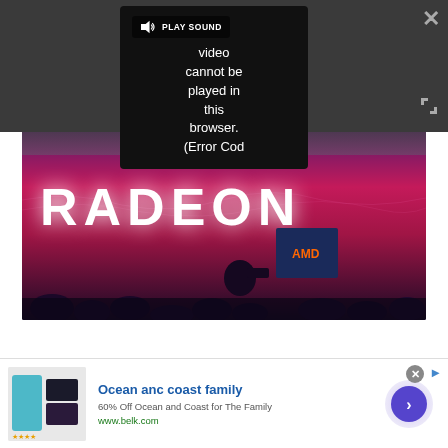[Figure (screenshot): Video player overlay with dark gray bar and popup showing 'PLAY SOUND' button and error message: 'Video cannot be played in this browser. (Error Cod']
[Figure (photo): Photo of AMD Radeon presentation event with large RADEON text on red/magenta LED screen, AMD podium, and audience silhouettes]
[Figure (screenshot): Advertisement banner for 'Ocean anc coast family' - 60% Off Ocean and Coast for The Family, www.belk.com, with product thumbnail showing swimwear and a blue arrow circle button]